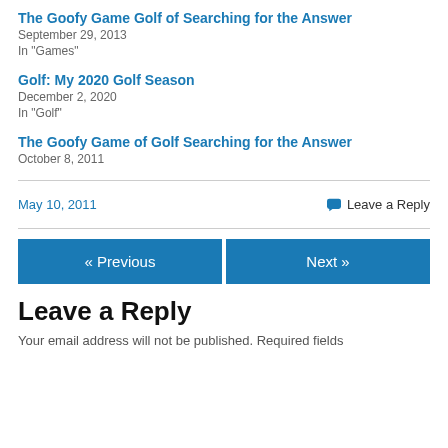The Goofy Game Golf of Searching for the Answer
September 29, 2013
In "Games"
Golf: My 2020 Golf Season
December 2, 2020
In "Golf"
The Goofy Game of Golf Searching for the Answer
October 8, 2011
May 10, 2011   Leave a Reply
« Previous   Next »
Leave a Reply
Your email address will not be published. Required fields